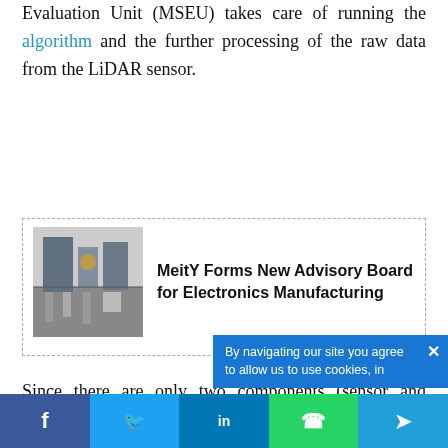Evaluation Unit (MSEU) takes care of running the algorithm and the further processing of the raw data from the LiDAR sensor.
[Figure (photo): Thumbnail image of electronics manufacturing hardware (circuit boards, machinery) used in 'Also Read' sidebar box. The box also contains the title 'MeitY Forms New Advisory Board for Electronics Manufacturing' and an 'ALSO READ' label.]
Since there are only two components (sensor and MSEU) to install, the Contour2D sensor system impresses with very low hardware costs and minimal installation effort. Unlike conventional systems, there is no need for time-consuming configuration to alig...
By navigating our site you agree to allow us to use cookies, in...